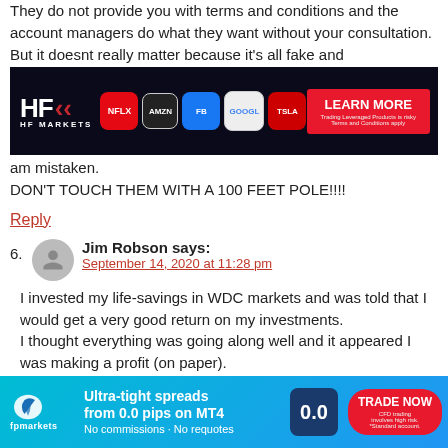They do not provide you with terms and conditions and the account managers do what they want without your consultation.
But it doesnt really matter because it's all fake and
[Figure (screenshot): HF Markets advertisement banner showing stock icons (NFLX, AMZN, FB, GOOGL, TSLA) with Learn More button]
am mistaken.
DON'T TOUCH THEM WITH A 100 FEET POLE!!!!
Reply
6.  Jim Robson says:
September 14, 2020 at 11:28 pm
I invested my life-savings in WDC markets and was told that I would get a very good return on my investments.
I thought everything was going along well and it appeared I was making a profit (on paper).
One day I decided to do my first withdrawal of AUD$2000. It went into a pending mode.
[Figure (screenshot): FP Markets advertisement banner: Ultra-tight spreads from 0.0 pips on MT4, No commissions - No requotes, Trade Now button]